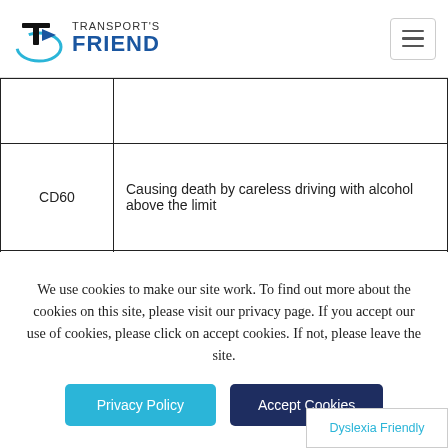Transport's Friend — navigation header with logo and hamburger menu
| Code | Description |
| --- | --- |
|  | (partial row clipped at top) |
| CD60 | Causing death by careless driving with alcohol above the limit |
|  | Causing death by careless driving then failing to... (clipped) |
We use cookies to make our site work. To find out more about the cookies on this site, please visit our privacy page. If you accept our use of cookies, please click on accept cookies. If not, please leave the site.
Privacy Policy | Accept Cookies
Dyslexia Friendly